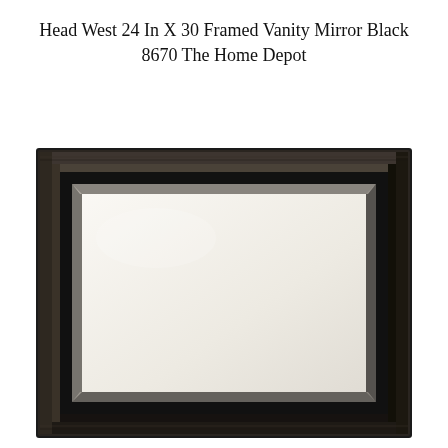Head West 24 In X 30 Framed Vanity Mirror Black 8670 The Home Depot
[Figure (photo): A rectangular framed vanity mirror with a dark (nearly black) distressed wood frame with beveled molding profile. The mirror glass has a slight warm/cream tone with beveled edges visible as lighter diagonal strips along the perimeter of the glass.]